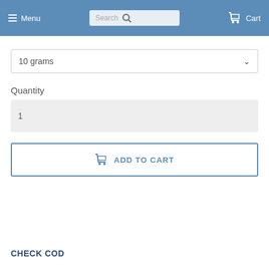Menu  Search  Cart
10 grams
Quantity
1
ADD TO CART
CHECK COD